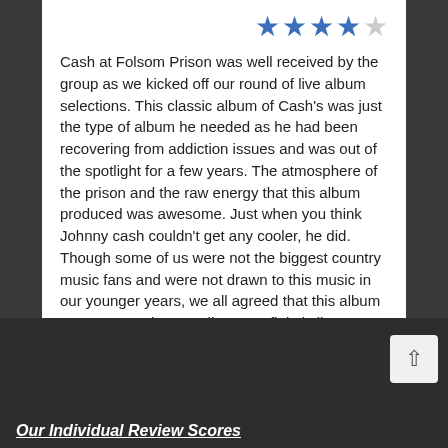[Figure (other): Star rating: 4 out of 5 blue stars]
Cash at Folsom Prison was well received by the group as we kicked off our round of live album selections. This classic album of Cash's was just the type of album he needed as he had been recovering from addiction issues and was out of the spotlight for a few years. The atmosphere of the prison and the raw energy that this album produced was awesome. Just when you think Johnny cash couldn't get any cooler, he did. Though some of us were not the biggest country music fans and were not drawn to this music in our younger years, we all agreed that this album was great and a must listen. Definitely listen to the legacy edition. Please listen to our audio review and enjoy- we sure did!
Our Individual Review Scores